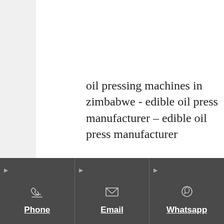oil pressing machines in zimbabwe - edible oil press manufacturer – edible oil press manufacturer
Oil Machinery - Mini Oil Expeller 1535 with Filter Press Manufacturer. Our range of products include mini oil expeller 1535 with filter press, mustard oil
Phone | Email | Whatsapp